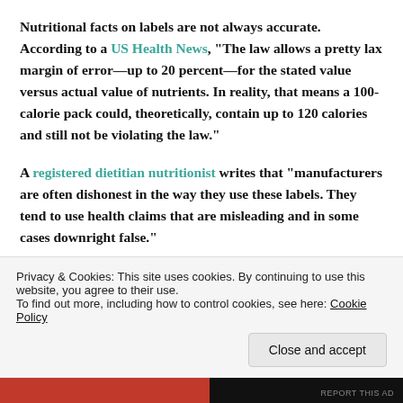Nutritional facts on labels are not always accurate. According to a US Health News, “The law allows a pretty lax margin of error—up to 20 percent—for the stated value versus actual value of nutrients. In reality, that means a 100-calorie pack could, theoretically, contain up to 120 calories and still not be violating the law.”
A registered dietitian nutritionist writes that “manufacturers are often dishonest in the way they use these labels. They tend to use health claims that are misleading and in some cases downright false.”
Privacy & Cookies: This site uses cookies. By continuing to use this website, you agree to their use.
To find out more, including how to control cookies, see here: Cookie Policy